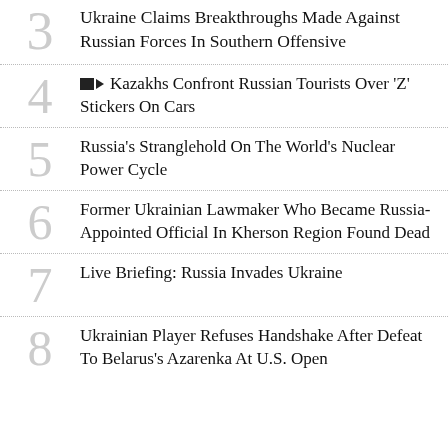3 Ukraine Claims Breakthroughs Made Against Russian Forces In Southern Offensive
4 [video] Kazakhs Confront Russian Tourists Over 'Z' Stickers On Cars
5 Russia's Stranglehold On The World's Nuclear Power Cycle
6 Former Ukrainian Lawmaker Who Became Russia-Appointed Official In Kherson Region Found Dead
7 Live Briefing: Russia Invades Ukraine
8 Ukrainian Player Refuses Handshake After Defeat To Belarus's Azarenka At U.S. Open